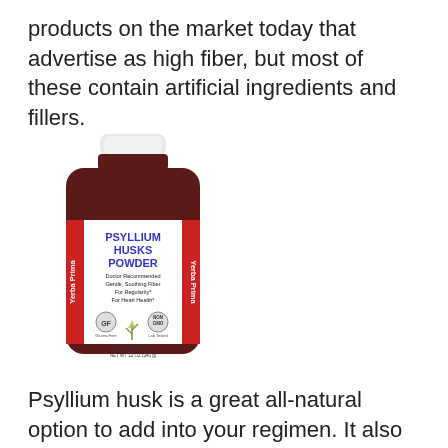products on the market today that advertise as high fiber, but most of these contain artificial ingredients and fillers.
[Figure (photo): A bottle of Yerba Prima Psyllium Husks Powder dietary supplement. The bottle is dark brown/maroon with a white cap. The label shows 'PSYLLIUM HUSKS POWDER' in bold blue letters, 'Doctor Recommended Gentle, Soothing Fiber For Regularity* For Heart Health*', GF (Certified Gluten-Free) and Non-GMO lab tested icons with a plant graphic. NET WT 12 OZ (340 g). Red side panels say 'Yerba Prima'.]
Psyllium husk is a great all-natural option to add into your regimen. It also shows to aid